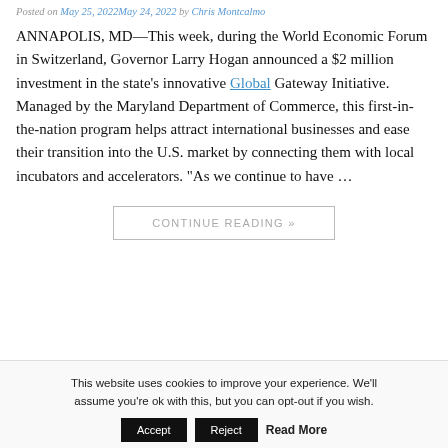Posted on May 25, 2022May 24, 2022 by Chris Montcalmo
ANNAPOLIS, MD—This week, during the World Economic Forum in Switzerland, Governor Larry Hogan announced a $2 million investment in the state's innovative Global Gateway Initiative. Managed by the Maryland Department of Commerce, this first-in-the-nation program helps attract international businesses and ease their transition into the U.S. market by connecting them with local incubators and accelerators. “As we continue to have …
CONTINUE READING »
This website uses cookies to improve your experience. We'll assume you're ok with this, but you can opt-out if you wish. Accept Reject Read More